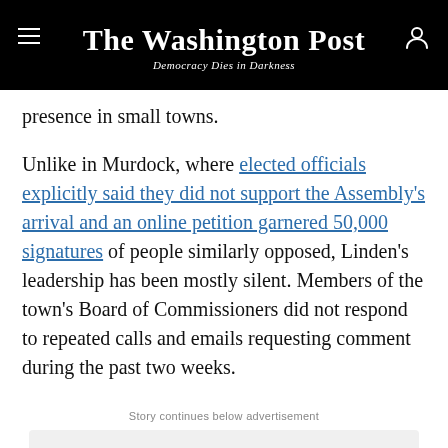The Washington Post — Democracy Dies in Darkness
presence in small towns.
Unlike in Murdock, where elected officials explicitly said they did not support the Assembly's arrival and an online petition garnered 50,000 signatures of people similarly opposed, Linden's leadership has been mostly silent. Members of the town's Board of Commissioners did not respond to repeated calls and emails requesting comment during the past two weeks.
Story continues below advertisement